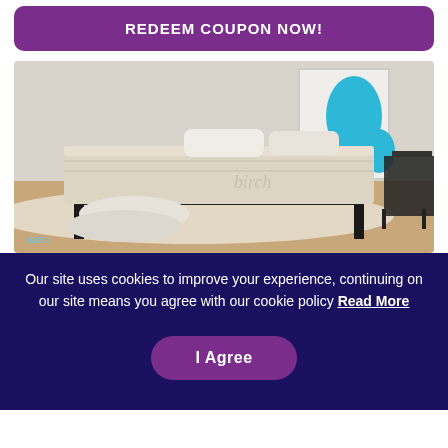REDEEM COUPON NOW!
[Figure (photo): Photo of a Birch mattress on a black metal bed frame in a minimalist bedroom setting, with white pillows on the mattress and on the floor. A blue abstract art piece is visible in the background. A 'video' label appears at the bottom left.]
Our site uses cookies to improve your experience, continuing on our site means you agree with our cookie policy Read More
I Agree